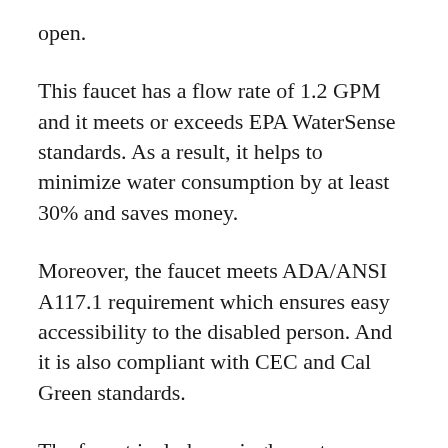open.
This faucet has a flow rate of 1.2 GPM and it meets or exceeds EPA WaterSense standards. As a result, it helps to minimize water consumption by at least 30% and saves money.
Moreover, the faucet meets ADA/ANSI A117.1 requirement which ensures easy accessibility to the disabled person. And it is also compliant with CEC and Cal Green standards.
The faucet includes a single post